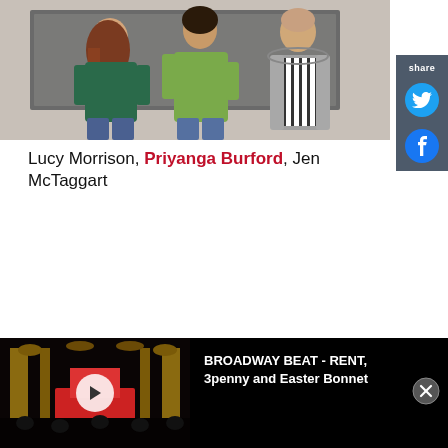[Figure (photo): Three women standing together in what appears to be a rehearsal room with a chalkboard background. Left person wears a dark green top and jeans, center person wears a green button-up shirt and jeans, right person wears a black and white striped dress with a grey hoodie.]
Lucy Morrison, Priyanga Burford, Jen McTaggart
[Figure (screenshot): Share sidebar with Twitter and Facebook round icon buttons on a dark grey background, labelled 'share']
[Figure (screenshot): Video player bar at the bottom showing a theatre interior thumbnail with a play button, and title text 'BROADWAY BEAT - RENT, 3penny and Easter Bonnet' with a close (X) button]